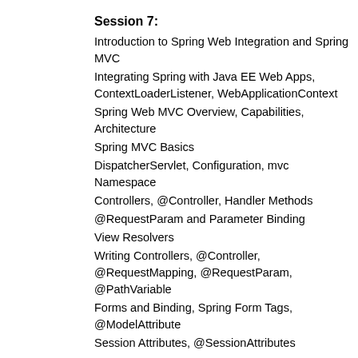Session 7:
Introduction to Spring Web Integration and Spring MVC
Integrating Spring with Java EE Web Apps, ContextLoaderListener, WebApplicationContext
Spring Web MVC Overview, Capabilities, Architecture
Spring MVC Basics
DispatcherServlet, Configuration, mvc Namespace
Controllers, @Controller, Handler Methods
@RequestParam and Parameter Binding
View Resolvers
Writing Controllers, @Controller, @RequestMapping, @RequestParam, @PathVariable
Forms and Binding, Spring Form Tags, @ModelAttribute
Session Attributes, @SessionAttributes